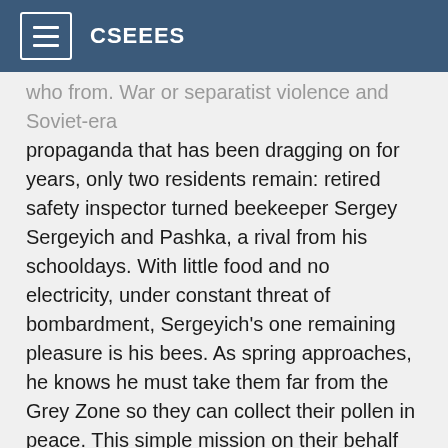CSEEES
who from. War or separatist violence and Soviet-era propaganda that has been dragging on for years, only two residents remain: retired safety inspector turned beekeeper Sergey Sergeyich and Pashka, a rival from his schooldays. With little food and no electricity, under constant threat of bombardment, Sergeyich's one remaining pleasure is his bees. As spring approaches, he knows he must take them far from the Grey Zone so they can collect their pollen in peace. This simple mission on their behalf introduces him to combatants and civilians on both sides of the battle lines: loyalists, separatists, Russian occupiers and Crimean Tatars. Wherever he goes, Sergeyich's childlike simplicity and strong moral compass disarm everyone he meets. But could these qualities be manipulated to serve an unworthy cause, spelling